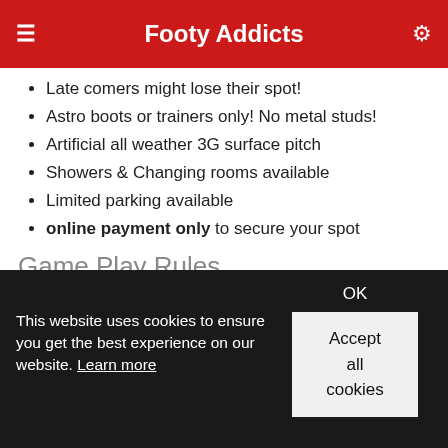Footy Addicts
Late comers might lose their spot!
Astro boots or trainers only! No metal studs!
Artificial all weather 3G surface pitch
Showers & Changing rooms available
Limited parking available
online payment only to secure your spot
Game Play Rules
We take turns on goal, everybody plays in goal (unless we have a keeper)
Make sure you are in a mood to have fun and enjoy the game
This website uses cookies to ensure you get the best experience on our website. Learn more
OK
Accept all cookies